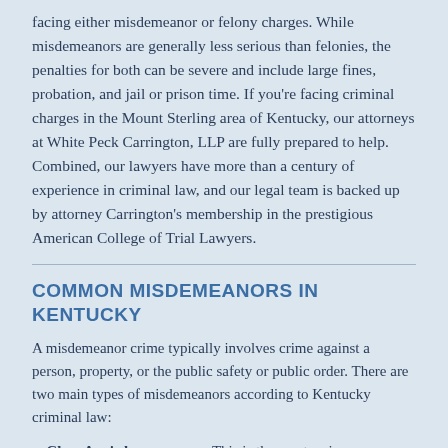facing either misdemeanor or felony charges. While misdemeanors are generally less serious than felonies, the penalties for both can be severe and include large fines, probation, and jail or prison time. If you're facing criminal charges in the Mount Sterling area of Kentucky, our attorneys at White Peck Carrington, LLP are fully prepared to help. Combined, our lawyers have more than a century of experience in criminal law, and our legal team is backed up by attorney Carrington's membership in the prestigious American College of Trial Lawyers.
COMMON MISDEMEANORS IN KENTUCKY
A misdemeanor crime typically involves crime against a person, property, or the public safety or public order. There are two main types of misdemeanors according to Kentucky criminal law:
Class A misdemeanors — This is the most serious